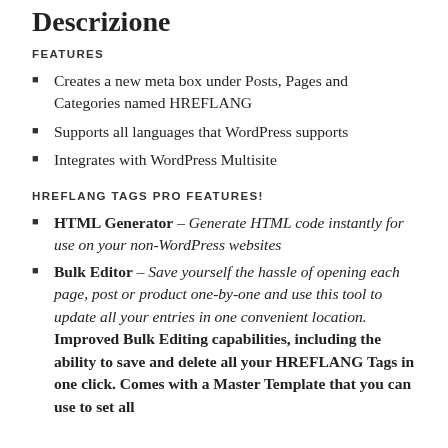Descrizione
FEATURES
Creates a new meta box under Posts, Pages and Categories named HREFLANG
Supports all languages that WordPress supports
Integrates with WordPress Multisite
HREFLANG TAGS PRO FEATURES!
HTML Generator – Generate HTML code instantly for use on your non-WordPress websites
Bulk Editor – Save yourself the hassle of opening each page, post or product one-by-one and use this tool to update all your entries in one convenient location. Improved Bulk Editing capabilities, including the ability to save and delete all your HREFLANG Tags in one click. Comes with a Master Template that you can use to set all